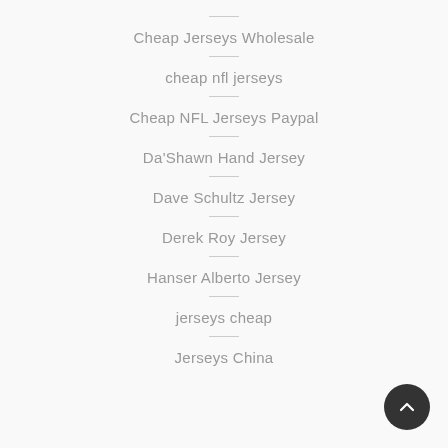Cheap Jerseys Wholesale
cheap nfl jerseys
Cheap NFL Jerseys Paypal
Da'Shawn Hand Jersey
Dave Schultz Jersey
Derek Roy Jersey
Hanser Alberto Jersey
jerseys cheap
Jerseys China